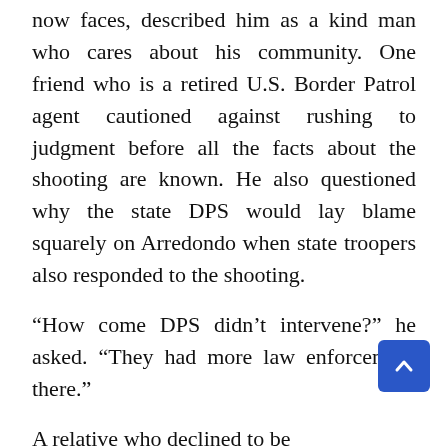now faces, described him as a kind man who cares about his community. One friend who is a retired U.S. Border Patrol agent cautioned against rushing to judgment before all the facts about the shooting are known. He also questioned why the state DPS would lay blame squarely on Arredondo when state troopers also responded to the shooting.
“How come DPS didn’t intervene?” he asked. “They had more law enforcement there.”
A relative who declined to be